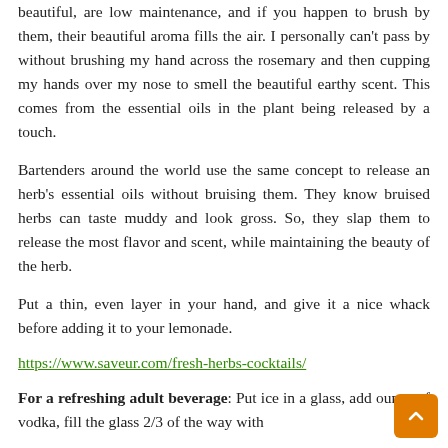beautiful, are low maintenance, and if you happen to brush by them, their beautiful aroma fills the air. I personally can't pass by without brushing my hand across the rosemary and then cupping my hands over my nose to smell the beautiful earthy scent. This comes from the essential oils in the plant being released by a touch.
Bartenders around the world use the same concept to release an herb's essential oils without bruising them. They know bruised herbs can taste muddy and look gross. So, they slap them to release the most flavor and scent, while maintaining the beauty of the herb.
Put a thin, even layer in your hand, and give it a nice whack before adding it to your lemonade.
https://www.saveur.com/fresh-herbs-cocktails/
For a refreshing adult beverage: Put ice in a glass, add ounce of vodka, fill the glass 2/3 of the way with